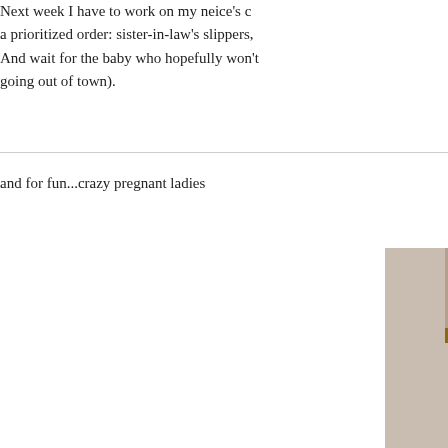Next week I have to work on my neice's c... a prioritized order: sister-in-law's slippers, And wait for the baby who hopefully won't going out of town).
and for fun...crazy pregnant ladies
[Figure (photo): A partially visible photo of a woman standing indoors near a fireplace, wearing a dark shirt.]
Posted at 10:07 PM in barb, family, gifts, kids, no...
Comments (0)
Reblog (0)
luckypennymake | Powered by TypePad